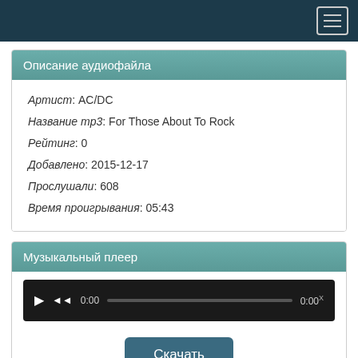Navigation bar with hamburger menu
Описание аудиофайла
Артист: AC/DC
Название mp3: For Those About To Rock
Рейтинг: 0
Добавлено: 2015-12-17
Прослушали: 608
Время проигрывания: 05:43
Музыкальный плеер
[Figure (other): Audio player control bar with play button, rewind button, time display 0:00, progress bar, and end time 0:00]
Скачать